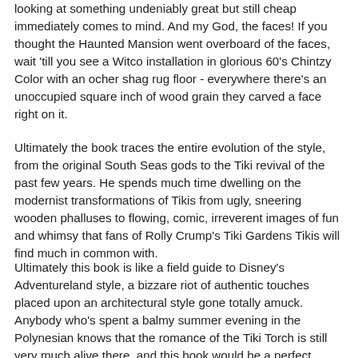looking at something undeniably great but still cheap immediately comes to mind. And my God, the faces! If you thought the Haunted Mansion went overboard of the faces, wait 'till you see a Witco installation in glorious 60's Chintzy Color with an ocher shag rug floor - everywhere there's an unoccupied square inch of wood grain they carved a face right on it.
Ultimately the book traces the entire evolution of the style, from the original South Seas gods to the Tiki revival of the past few years. He spends much time dwelling on the modernist transformations of Tikis from ugly, sneering wooden phalluses to flowing, comic, irreverent images of fun and whimsy that fans of Rolly Crump's Tiki Gardens Tikis will find much in common with.
Ultimately this book is like a field guide to Disney's Adventureland style, a bizzare riot of authentic touches placed upon an architectural style gone totally amuck. Anybody who's spent a balmy summer evening in the Polynesian knows that the romance of the Tiki Torch is still very much alive there, and this book would be a perfect companion if it weren't so large and so beautiful would be